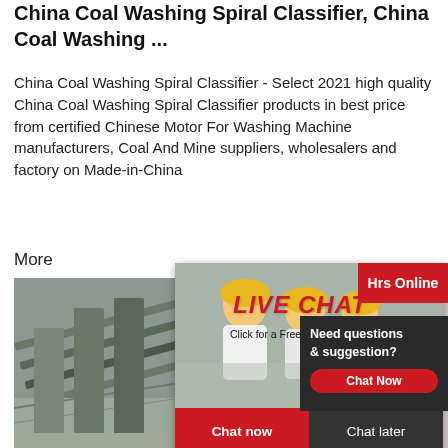China Coal Washing Spiral Classifier, China Coal Washing ...
China Coal Washing Spiral Classifier - Select 2021 high quality China Coal Washing Spiral Classifier products in best price from certified Chinese Motor For Washing Machine manufacturers, Coal And Mine suppliers, wholesalers and factory on Made-in-China
More
[Figure (photo): Industrial spiral classifier equipment/machinery photo]
[Figure (screenshot): Live chat popup with workers in yellow helmets. Text: LIVE CHAT, Click for a Free Consultation, Chat now, Chat later]
[Figure (photo): Hrs Online banner in red]
[Figure (photo): Customer service representative with headset]
[Figure (screenshot): Need questions & suggestion? Chat Now button box]
High Precision, Advanced energy sa classifier ...
Alibaba features a broad selection of opti energy saving spiral classifier that work w and make your work easier. Grab these e spiral classifier at low prices.